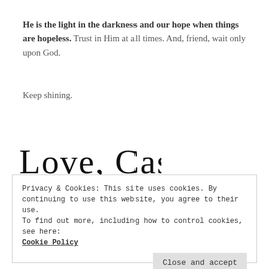He is the light in the darkness and our hope when things are hopeless. Trust in Him at all times. And, friend, wait only upon God.
Keep shining.
[Figure (illustration): Handwritten cursive signature reading 'Love, Cassie']
Privacy & Cookies: This site uses cookies. By continuing to use this website, you agree to their use.
To find out more, including how to control cookies, see here: Cookie Policy
Close and accept